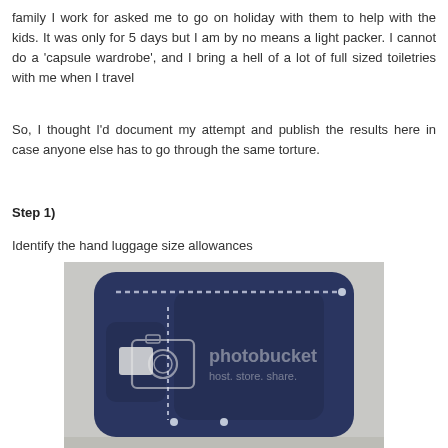family I work for asked me to go on holiday with them to help with the kids. It was only for 5 days but I am by no means a light packer. I cannot do a 'capsule wardrobe', and I bring a hell of a lot of full sized toiletries with me when I travel
So, I thought I'd document my attempt and publish the results here in case anyone else has to go through the same torture.
Step 1)
Identify the hand luggage size allowances
[Figure (photo): A navy blue rectangular hard-shell carry-on suitcase/bag lying flat, with two front zip pockets visible. A photobucket watermark is overlaid on the image.]